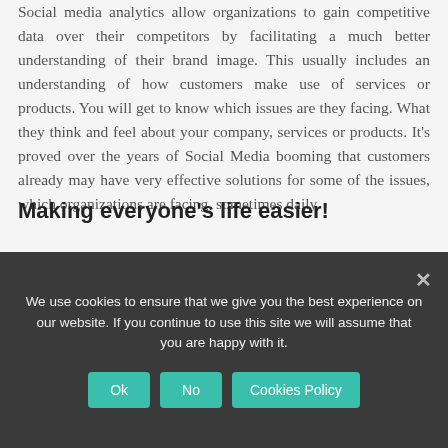Social media analytics allow organizations to gain competitive data over their competitors by facilitating a much better understanding of their brand image. This usually includes an understanding of how customers make use of services or products. You will get to know which issues are they facing. What they think and feel about your company, services or products. It's proved over the years of Social Media booming that customers already may have very effective solutions for some of the issues, which organizations are facing, sometimes daily.
Making everyone's life easier!
[Figure (other): Green banner/box element partially visible]
We use cookies to ensure that we give you the best experience on our website. If you continue to use this site we will assume that you are happy with it.